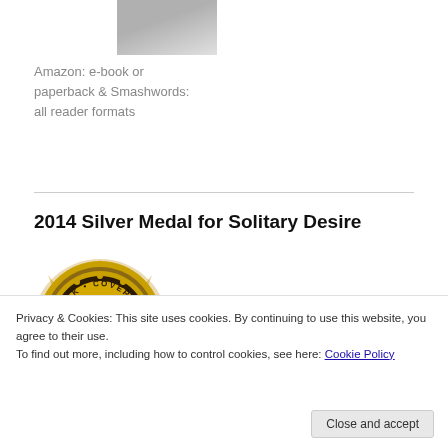[Figure (photo): Partial book cover image in grayscale at the top of the page]
Amazon: e-book or paperback & Smashwords: all reader formats
2014 Silver Medal for Solitary Desire
[Figure (illustration): AuthorSDB Book Cover Contest 2014 Finalist badge — gold and red medallion with ribbon]
Privacy & Cookies: This site uses cookies. By continuing to use this website, you agree to their use.
To find out more, including how to control cookies, see here: Cookie Policy